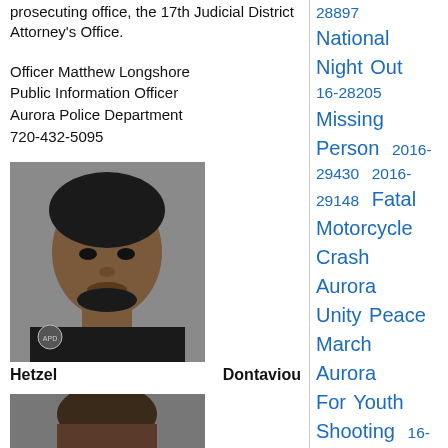prosecuting office, the 17th Judicial District Attorney's Office.
Officer Matthew Longshore
Public Information Officer
Aurora Police Department
720-432-5095
[Figure (photo): Mugshot photo of Dontaviou Hetzel]
Dontaviou Hetzel
[Figure (photo): Second mugshot photo (partially visible)]
28897
National Night Out
16-28205
Missing Person  2016-29430  2016-29148  Fatal Motorcycle Crash  Aurora Unity Peace March  Aurora For Youth Shooting  16-30068  SVU Amber Alert  16-31424  16-32798  Dsitrict 2  Suspicious Death
Explorer Post